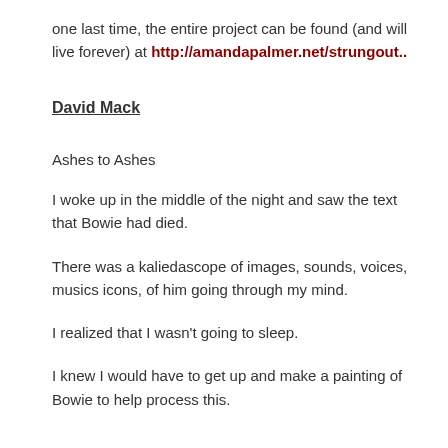one last time, the entire project can be found (and will live forever) at http://amandapalmer.net/strungout..
David Mack
Ashes to Ashes
I woke up in the middle of the night and saw the text that Bowie had died.
There was a kaliedascope of images, sounds, voices, musics icons, of him going through my mind.
I realized that I wasn't going to sleep.
I knew I would have to get up and make a painting of Bowie to help process this.